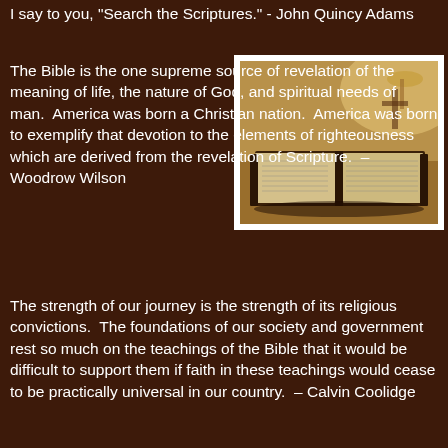I say to you, "Search the Scriptures."  - John Quincy Adams
[Figure (photo): Open Bible on a desk with soft warm light and a cross visible in the background]
The Bible is the one supreme source of revelation of the meaning of life, the nature of God, and spiritual needs of man.  America was born a Christian nation.  America was born to exemplify that devotion to the elements of righteousness which are derived from the revelation of Scripture.  – Woodrow Wilson
The strength of our journey is the strength of its religious convictions.  The foundations of our society and government rest so much on the teachings of the Bible that it would be difficult to support them if faith in these teachings would cease to be practically universal in our country.  – Calvin Coolidge